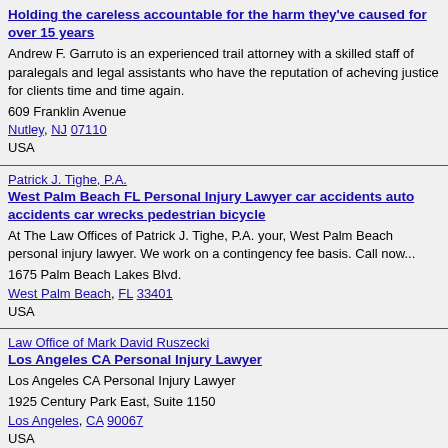Holding the careless accountable for the harm they've caused for over 15 years
Andrew F. Garruto is an experienced trail attorney with a skilled staff of paralegals and legal assistants who have the reputation of acheving justice for clients time and time again.
609 Franklin Avenue
Nutley, NJ 07110
USA
Patrick J. Tighe, P.A.
West Palm Beach FL Personal Injury Lawyer car accidents auto accidents car wrecks pedestrian bicycle
At The Law Offices of Patrick J. Tighe, P.A. your, West Palm Beach personal injury lawyer. We work on a contingency fee basis. Call now...
1675 Palm Beach Lakes Blvd.
West Palm Beach, FL 33401
USA
Law Office of Mark David Ruszecki
Los Angeles CA Personal Injury Lawyer
Los Angeles CA Personal Injury Lawyer
1925 Century Park East, Suite 1150
Los Angeles, CA 90067
USA
Law Office of Jeffrey D. Bramer
Providing personal and caring legal services for your injury
You are more than a file in my office. You are a person who has suffered an injury through no fault of your own. I am here to provide the best legal...